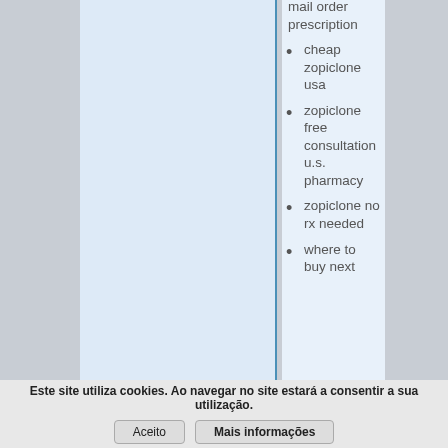mail order prescription
cheap zopiclone usa
zopiclone free consultation u.s. pharmacy
zopiclone no rx needed
where to buy next...
Este site utiliza cookies. Ao navegar no site estará a consentir a sua utilização.
Aceito   Mais informações